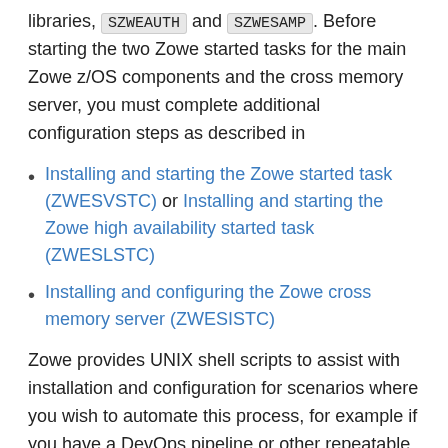libraries, SZWEAUTH and SZWESAMP. Before starting the two Zowe started tasks for the main Zowe z/OS components and the cross memory server, you must complete additional configuration steps as described in
Installing and starting the Zowe started task (ZWESVSTC) or Installing and starting the Zowe high availability started task (ZWESLSTC)
Installing and configuring the Zowe cross memory server (ZWESISTC)
Zowe provides UNIX shell scripts to assist with installation and configuration for scenarios where you wish to automate this process, for example if you have a DevOps pipeline or other repeatable